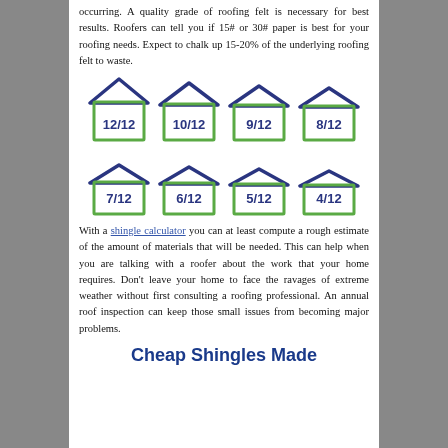occurring. A quality grade of roofing felt is necessary for best results. Roofers can tell you if 15# or 30# paper is best for your roofing needs. Expect to chalk up 15-20% of the underlying roofing felt to waste.
[Figure (infographic): Eight house icons arranged in two rows of four, each with a blue roof outline and green body outline, labeled with roof pitch ratios: 12/12, 10/12, 9/12, 8/12 (top row) and 7/12, 6/12, 5/12, 4/12 (bottom row)]
With a shingle calculator you can at least compute a rough estimate of the amount of materials that will be needed. This can help when you are talking with a roofer about the work that your home requires. Don't leave your home to face the ravages of extreme weather without first consulting a roofing professional. An annual roof inspection can keep those small issues from becoming major problems.
Cheap Shingles Made